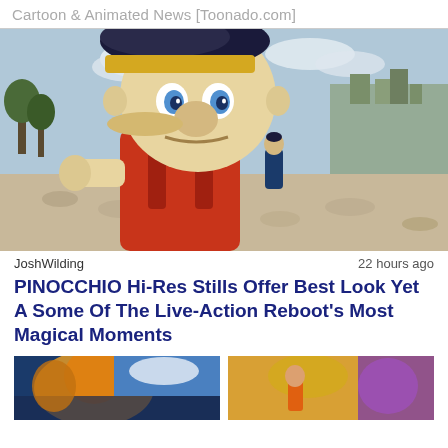Cartoon & Animated News [Toonado.com]
[Figure (photo): Close-up photo of a CGI/live-action Pinocchio puppet character with a blue bowtie, yellow hat with a blue feather, and a large wooden nose, standing outdoors in a rocky landscape with a hillside village in the background.]
JoshWilding    22 hours ago
PINOCCHIO Hi-Res Stills Offer Best Look Yet A Some Of The Live-Action Reboot's Most Magical Moments
[Figure (photo): Partial view of an animated character image on the bottom left]
[Figure (photo): Partial view of an animated scene image on the bottom right]